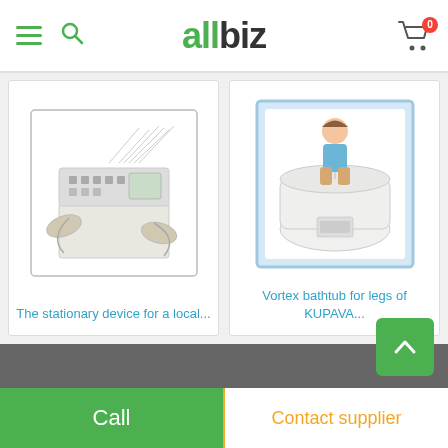allbiz
[Figure (photo): Medical/beauty stationary device with multiple attachments and tubes]
The stationary device for a local...
[Figure (photo): Vortex bathtub for legs - white inflatable tub with woman sitting inside]
Vortex bathtub for legs of KUPAVA...
Call | Contact supplier